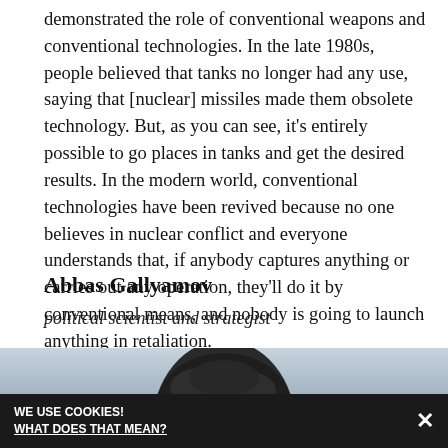demonstrated the role of conventional weapons and conventional technologies. In the late 1980s, people believed that tanks no longer had any use, saying that [nuclear] missiles made them obsolete technology. But, as you can see, it's entirely possible to go places in tanks and get the desired results. In the modern world, conventional technologies have been revived because no one believes in nuclear conflict and everyone understands that, if anybody captures anything or carries out any operation, they'll do it by conventional means, and nobody is going to launch anything in retaliation.
Abbas Gallyamov
political scientist and strategist
[Figure (photo): Partial photo of Abbas Gallyamov showing top of head with dark hair, against a light blue/grey background]
WE USE COOKIES! WHAT DOES THAT MEAN? ×